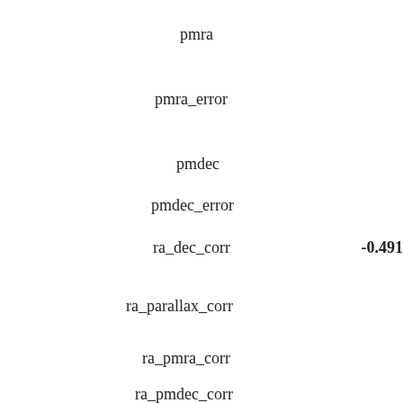pmra
pmra_error
pmdec
pmdec_error
ra_dec_corr   -0.491
ra_parallax_corr
ra_pmra_corr
ra_pmdec_corr